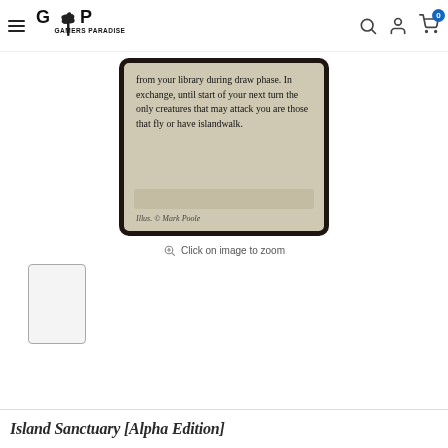Gamers Paradise
[Figure (photo): Partial view of a Magic: The Gathering card showing card text: 'from your library during draw phase. In exchange, until start of your next turn the only creatures that may attack you are those that fly or have islandwalk.' Illus. © Mark Poole]
Click on image to zoom
[Figure (photo): Small thumbnail of the same Magic: The Gathering card (blank/white placeholder)]
Island Sanctuary [Alpha Edition]